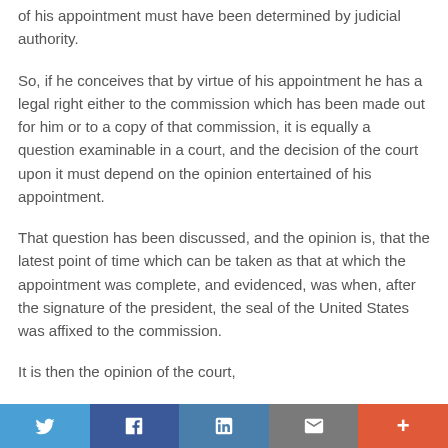of his appointment must have been determined by judicial authority.
So, if he conceives that by virtue of his appointment he has a legal right either to the commission which has been made out for him or to a copy of that commission, it is equally a question examinable in a court, and the decision of the court upon it must depend on the opinion entertained of his appointment.
That question has been discussed, and the opinion is, that the latest point of time which can be taken as that at which the appointment was complete, and evidenced, was when, after the signature of the president, the seal of the United States was affixed to the commission.
It is then the opinion of the court,